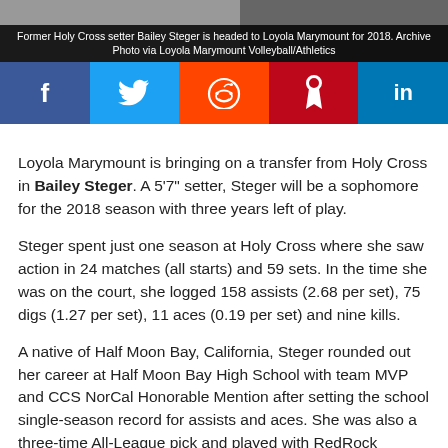[Figure (photo): Photo of Bailey Steger / Loyola Marymount volleyball player, split image with dark overlay]
Former Holy Cross setter Bailey Steger is headed to Loyola Marymount for 2018. Archive Photo via Loyola Marymount Volleyball/Athletics
[Figure (infographic): Social share buttons: Facebook, Twitter, Reddit, Pinterest, LinkedIn]
Loyola Marymount is bringing on a transfer from Holy Cross in Bailey Steger. A 5'7" setter, Steger will be a sophomore for the 2018 season with three years left of play.
Steger spent just one season at Holy Cross where she saw action in 24 matches (all starts) and 59 sets. In the time she was on the court, she logged 158 assists (2.68 per set), 75 digs (1.27 per set), 11 aces (0.19 per set) and nine kills.
A native of Half Moon Bay, California, Steger rounded out her career at Half Moon Bay High School with team MVP and CCS NorCal Honorable Mention after setting the school single-season record for assists and aces. She was also a three-time All-League pick and played with RedRock Volleyball Beach…